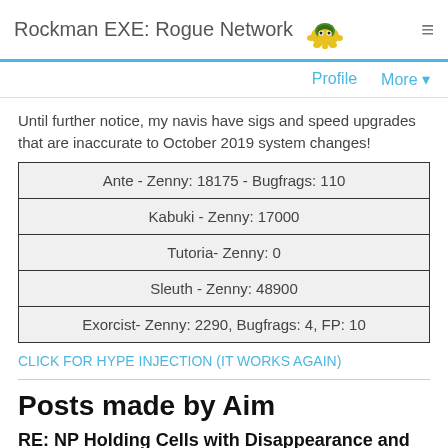Rockman EXE: Rogue Network
Profile    More ▾
Until further notice, my navis have sigs and speed upgrades that are inaccurate to October 2019 system changes!
| Ante - Zenny: 18175 - Bugfrags: 110 |
| Kabuki - Zenny: 17000 |
| Tutoria- Zenny: 0 |
| Sleuth - Zenny: 48900 |
| Exorcist- Zenny: 2290, Bugfrags: 4, FP: 10 |
CLICK FOR HYPE INJECTION (IT WORKS AGAIN)
Posts made by Aim
RE: NP Holding Cells with Disappearance and